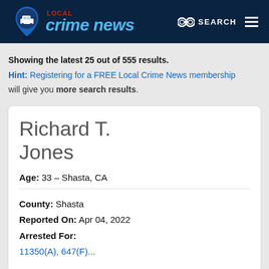LOCAL crime news — SEARCH
Showing the latest 25 out of 555 results.
Hint: Registering for a FREE Local Crime News membership will give you more search results.
Richard T. Jones
Age: 33 – Shasta, CA
County: Shasta
Reported On: Apr 04, 2022
Arrested For:
11350(A), 647(F)...